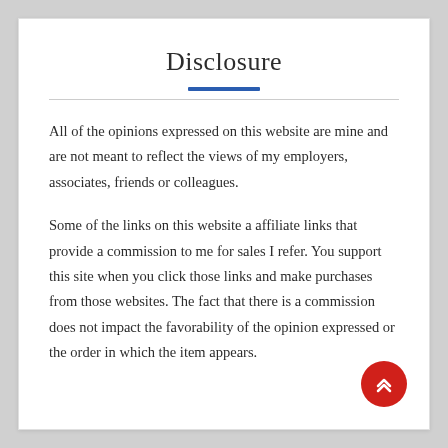Disclosure
All of the opinions expressed on this website are mine and are not meant to reflect the views of my employers, associates, friends or colleagues.
Some of the links on this website a affiliate links that provide a commission to me for sales I refer. You support this site when you click those links and make purchases from those websites. The fact that there is a commission does not impact the favorability of the opinion expressed or the order in which the item appears.